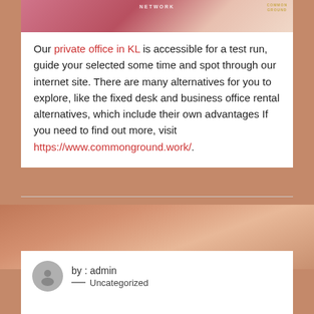[Figure (photo): Top banner image with reddish/pink tones, showing partial text 'NETWORK' and a logo reading 'COMMON GROUND' in gold on the right]
Our private office in KL is accessible for a test run, guide your selected some time and spot through our internet site. There are many alternatives for you to explore, like the fixed desk and business office rental alternatives, which include their own advantages If you need to find out more, visit https://www.commonground.work/.
[Figure (photo): Background photo with warm copper/rose-gold tones visible between the two white cards]
by : admin
— Uncategorized